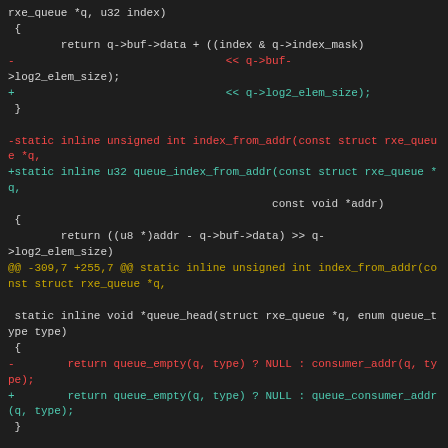Code diff showing changes to rxe_queue related functions including index_from_addr, queue_head, and diff header for rxe_req.c